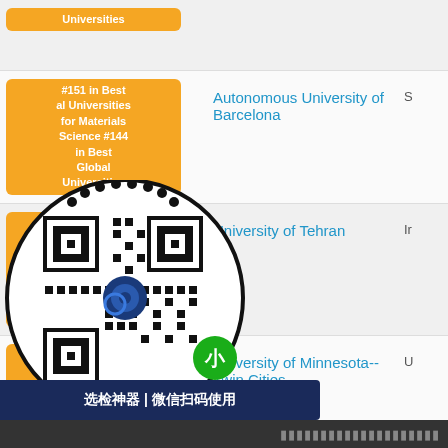| Rank | University | Country |
| --- | --- | --- |
| (rank label clipped) Universities |  |  |
| #151 in Best Global Universities for Materials Science #144 in Best Global Universities | Autonomous University of Barcelona | S... |
| #151 in Best Global Universities for Materials Science #353 in Best Global Universities | University of Tehran | Ir... |
| #153 in Best Global Universities for Materials Science | University of Minnesota--Twin Cities | U... |
| (clipped) | ...s, The State University of New Jersey--New Brunswick | U... |
[Figure (other): QR code overlay with WeChat scan label '选检神器 | 微信扫码使用']